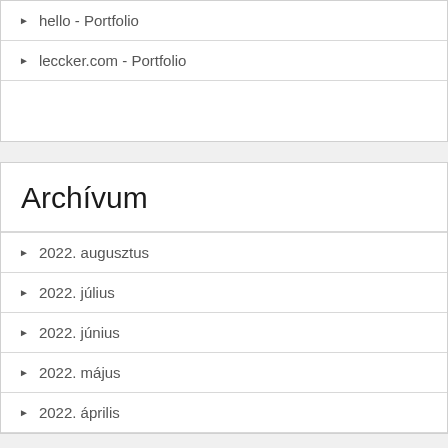hello - Portfolio
leccker.com - Portfolio
Archívum
2022. augusztus
2022. július
2022. június
2022. május
2022. április